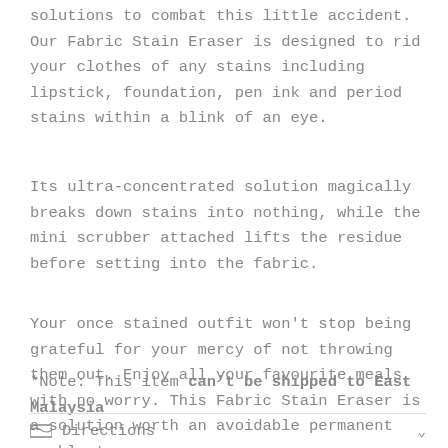solutions to combat this little accident. Our Fabric Stain Eraser is designed to rid your clothes of any stains including lipstick, foundation, pen ink and period stains within a blink of an eye.
Its ultra-concentrated solution magically breaks down stains into nothing, while the mini scrubber attached lifts the residue before setting into the fabric.
Your once stained outfit won't stop being grateful for your mercy of not throwing them out. Enjoy all your favourite meals with no worry. This Fabric Stain Eraser is a solution worth an avoidable permanent problem!
*Note: This item can't be shipped to East Malaysia
Directions